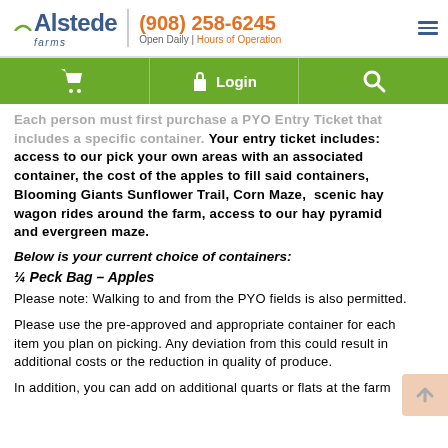Alstede farms | (908) 258-6245 | Open Daily | Hours of Operation
Each person must first purchase a PYO Entry Ticket that includes a specific container. Your entry ticket includes: access to our pick your own areas with an associated container, the cost of the apples to fill said containers, Blooming Giants Sunflower Trail, Corn Maze, scenic hay wagon rides around the farm, access to our hay pyramid and evergreen maze.
Below is your current choice of containers:
¼ Peck Bag – Apples
Please note: Walking to and from the PYO fields is also permitted.
Please use the pre-approved and appropriate container for each item you plan on picking. Any deviation from this could result in additional costs or the reduction in quality of produce.
In addition, you can add on additional quarts or flats at the farm